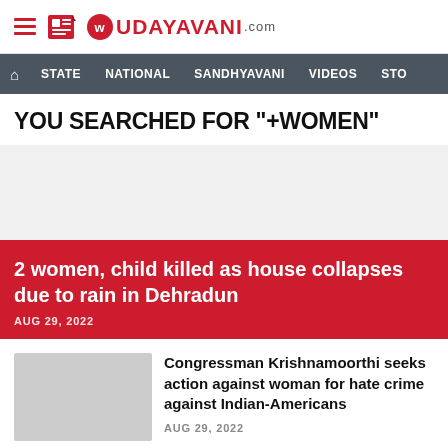UDAYAVANI.com — navigation header with STATE, NATIONAL, SANDHYAVANI, VIDEOS, STO...
YOU SEARCHED FOR "+WOMEN"
[Figure (other): Advertisement / empty ad space placeholder]
2 women, child killed as house collapses due to rain in Dehradun
AUG 29, 2022
[Figure (photo): Thumbnail image for Congressman Krishnamoorthi article]
Congressman Krishnamoorthi seeks action against woman for hate crime against Indian-Americans
AUG 29, 2022